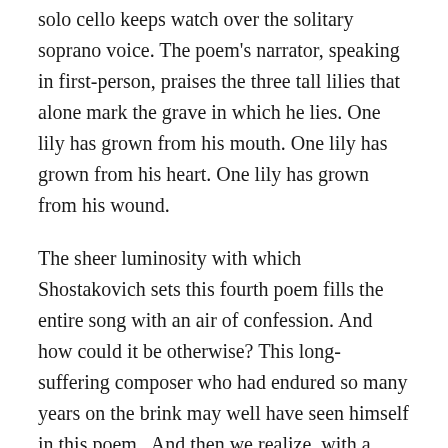solo cello keeps watch over the solitary soprano voice. The poem's narrator, speaking in first-person, praises the three tall lilies that alone mark the grave in which he lies. One lily has grown from his mouth. One lily has grown from his heart. One lily has grown from his wound.
The sheer luminosity with which Shostakovich sets this fourth poem fills the entire song with an air of confession. And how could it be otherwise? This long-suffering composer who had endured so many years on the brink may well have seen himself in this poem.  And then we realize, with a shiver, that this music of death has enacted its own escape. These lilies — once linked to a poet's mouth, heart,